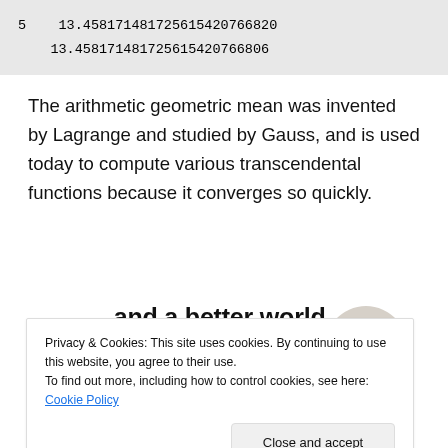5   13.458171481725615420766820
13.458171481725615420766806
The arithmetic geometric mean was invented by Lagrange and studied by Gauss, and is used today to compute various transcendental functions because it converges so quickly.
[Figure (other): Advertisement banner with text 'and a better world.', an Apply button, and a photo of a person thinking]
Privacy & Cookies: This site uses cookies. By continuing to use this website, you agree to their use.
To find out more, including how to control cookies, see here: Cookie Policy